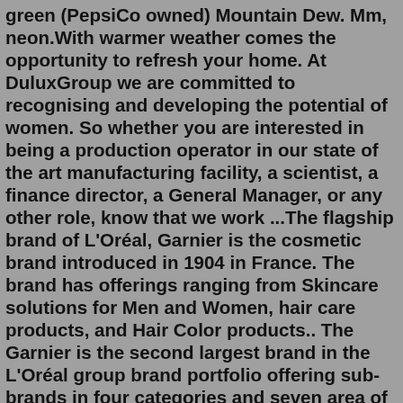green (PepsiCo owned) Mountain Dew. Mm, neon.With warmer weather comes the opportunity to refresh your home. At DuluxGroup we are committed to recognising and developing the potential of women. So whether you are interested in being a production operator in our state of the art manufacturing facility, a scientist, a finance director, a General Manager, or any other role, know that we work ...The flagship brand of L'Oréal, Garnier is the cosmetic brand introduced in 1904 in France. The brand has offerings ranging from Skincare solutions for Men and Women, hair care products, and Hair Color products.. The Garnier is the second largest brand in the L'Oréal group brand portfolio offering sub-brands in four categories and seven area of expertise.Total Beverage Company Ambition. We're meeting you at any point in your day with the drinks you love. From dairy to water to something with a little bit of sparkle and everything in between, our beverage options across 200+ brands bring a little magic to your day - or night.Tropicana Brands Group | 2,160 followers on